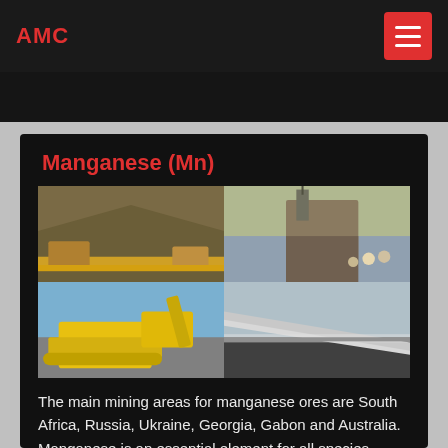AMC
Manganese (Mn)
[Figure (photo): Four mining site photographs arranged in 2x2 grid showing manganese ore mining operations: conveyor belts, heavy machinery, excavators, and processing facilities]
The main mining areas for manganese ores are South Africa, Russia, Ukraine, Georgia, Gabon and Australia. Manganese is an essential element for all species. Some organisms, such as diatoms